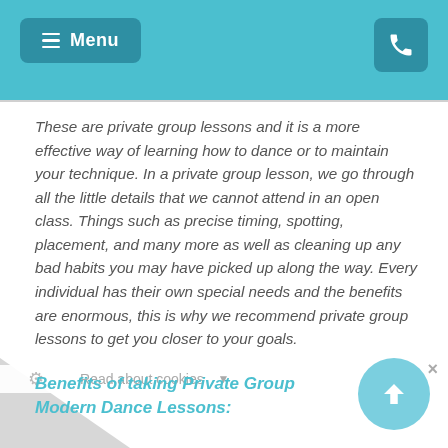Menu
These are private group lessons and it is a more effective way of learning how to dance or to maintain your technique. In a private group lesson, we go through all the little details that we cannot attend in an open class. Things such as precise timing, spotting, placement, and many more as well as cleaning up any bad habits you may have picked up along the way. Every individual has their own special needs and the benefits are enormous, this is why we recommend private group lessons to get you closer to your goals.
Benefits of taking Private Group Modern Dance Lessons: